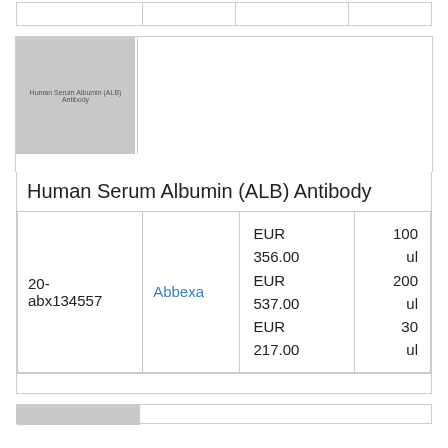|  |  |  |  |
[Figure (photo): Product thumbnail image placeholder for Human Serum Albumin (ALB) Antibody, grey box]
Human Serum Albumin (ALB) Antibody
|  |  | Price | Size |
| --- | --- | --- | --- |
| 20-abx134557 | Abbexa | EUR 356.00
EUR 537.00
EUR 217.00 | 100 ul
200 ul
30 ul |
|  |  |  |  |